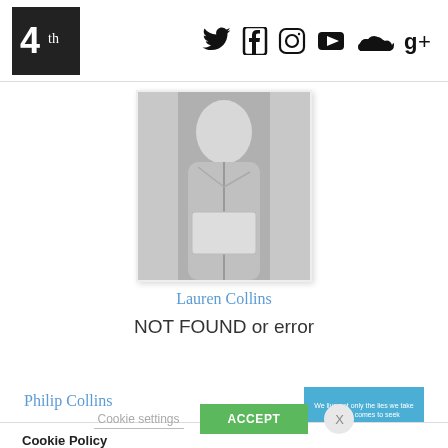4th [logo] — social icons: Twitter, Facebook, Instagram, YouTube, SoundCloud, Google+
[Figure (photo): Black and white photo of Lauren Collins holding a book or folder, wearing a light jacket]
Lauren Collins
NOT FOUND or error
Philip Collins
[Figure (other): Small blue thumbnail image with white text]
Cookie Policy
We use cookies to personalise content and ads, to provide social media features and to analyse our traffic. We also share information about your use of our site with our social media, advertising and analytics partners. Read our cookie policy
Cookie settings   ACCEPT   X